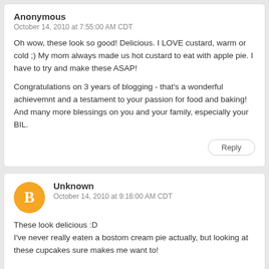Anonymous
October 14, 2010 at 7:55:00 AM CDT
Oh wow, these look so good! Delicious. I LOVE custard, warm or cold ;) My mom always made us hot custard to eat with apple pie. I have to try and make these ASAP!
Congratulations on 3 years of blogging - that's a wonderful achievemnt and a testament to your passion for food and baking! And many more blessings on you and your family, especially your BIL.
Reply
Unknown
October 14, 2010 at 9:16:00 AM CDT
These look delicious :D
I've never really eaten a bostom cream pie actually, but looking at these cupcakes sure makes me want to!